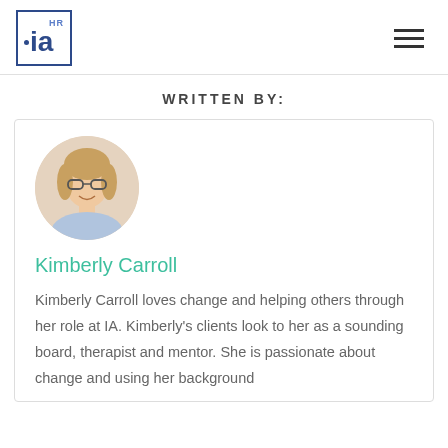ia HR — navigation header
WRITTEN BY:
[Figure (photo): Circular portrait photo of Kimberly Carroll, a woman with blonde hair and glasses, smiling]
Kimberly Carroll
Kimberly Carroll loves change and helping others through her role at IA. Kimberly's clients look to her as a sounding board, therapist and mentor. She is passionate about change and using her background